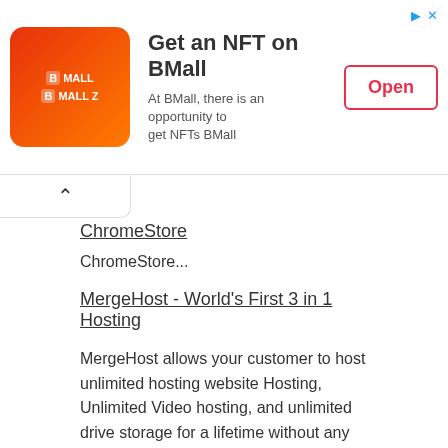[Figure (other): BMall advertisement banner with logo, title 'Get an NFT on BMall', subtitle 'At BMall, there is an opportunity to get NFTs BMall', and an Open button]
ChromeStore
ChromeStore...
MergeHost - World's First 3 in 1 Hosting
MergeHost allows your customer to host unlimited hosting website Hosting, Unlimited Video hosting, and unlimited drive storage for a lifetime without any restriction at all. This will help your customer to save thousands of dollars every year....
TubePayz
TubePayz Goes Live On Monday, 18th July @ 10am